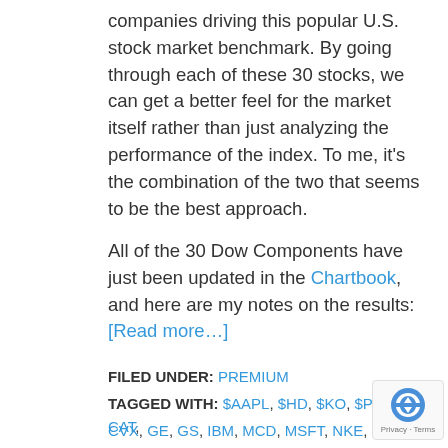companies driving this popular U.S. stock market benchmark. By going through each of these 30 stocks, we can get a better feel for the market itself rather than just analyzing the performance of the index. To me, it’s the combination of the two that seems to be the best approach.
All of the 30 Dow Components have just been updated in the Chartbook, and here are my notes on the results: [Read more…]
FILED UNDER: PREMIUM
TAGGED WITH: $AAPL, $HD, $KO, $PG, BA, CAT, CVX, GE, GS, IBM, MCD, MSFT, NKE, UNH, VZ, XOM